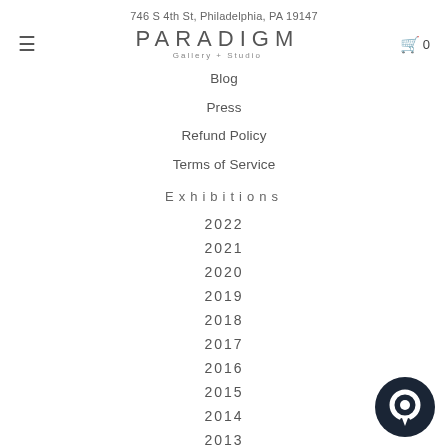746 S 4th St, Philadelphia, PA 19147
PARADIGM Gallery + Studio
Blog
Press
Refund Policy
Terms of Service
Exhibitions
2022
2021
2020
2019
2018
2017
2016
2015
2014
2013